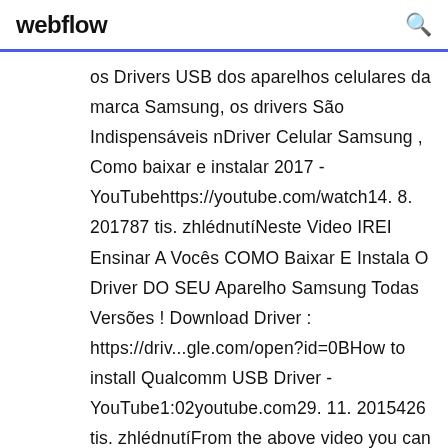webflow
os Drivers USB dos aparelhos celulares da marca Samsung, os drivers São Indispensáveis nDriver Celular Samsung , Como baixar e instalar 2017 - YouTubehttps://youtube.com/watch14. 8. 201787 tis. zhlédnutíNeste Video IREI Ensinar A Vocês COMO Baixar E Instala O Driver DO SEU Aparelho Samsung Todas Versões ! Download Driver : https://driv...gle.com/open?id=0BHow to install Qualcomm USB Driver - YouTube1:02youtube.com29. 11. 2015426 tis. zhlédnutíFrom the above video you can learn How to install Qualcomm USB Driver on Windows Computer. Download Qualcomm USB Driver: https://andr...st.com/nbvn6   Download